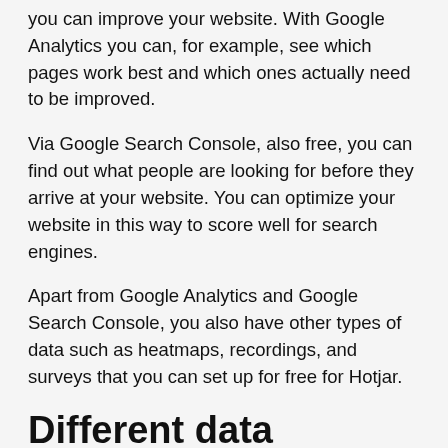you can improve your website. With Google Analytics you can, for example, see which pages work best and which ones actually need to be improved.
Via Google Search Console, also free, you can find out what people are looking for before they arrive at your website. You can optimize your website in this way to score well for search engines.
Apart from Google Analytics and Google Search Console, you also have other types of data such as heatmaps, recordings, and surveys that you can set up for free for Hotjar.
Different data collection methods?
Earlier I mentioned Google Analytics, Google Search